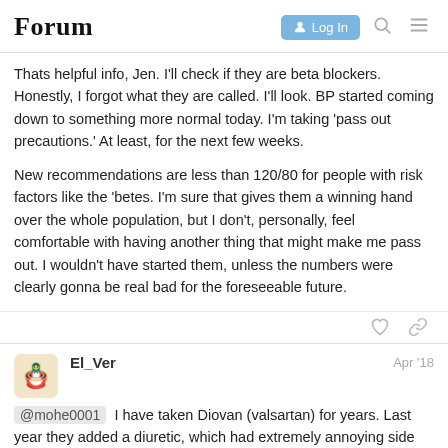Forum | Log In
Thats helpful info, Jen. I'll check if they are beta blockers. Honestly, I forgot what they are called. I'll look. BP started coming down to something more normal today. I'm taking 'pass out precautions.' At least, for the next few weeks.

New recommendations are less than 120/80 for people with risk factors like the 'betes. I'm sure that gives them a winning hand over the whole population, but I don't, personally, feel comfortable with having another thing that might make me pass out. I wouldn't have started them, unless the numbers were clearly gonna be real bad for the foreseeable future.
El_Ver   Apr '18
@mohe0001 I have taken Diovan (valsartan) for years. Last year they added a diuretic, which had extremely annoying side